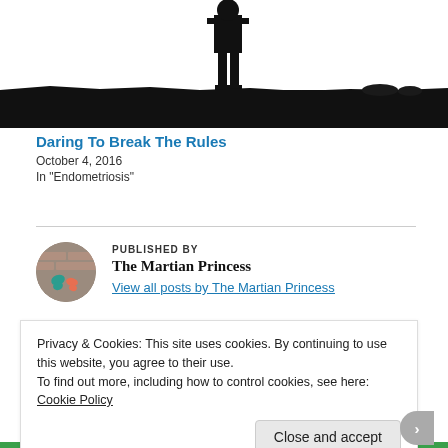[Figure (illustration): Black silhouette of a person standing on a dark landscape/horizon against a white sky]
Daring To Break The Rules
October 4, 2016
In "Endometriosis"
[Figure (photo): Circular avatar photo showing butterfly decorations on a brick wall background - author avatar for The Martian Princess]
PUBLISHED BY
The Martian Princess
View all posts by The Martian Princess
Privacy & Cookies: This site uses cookies. By continuing to use this website, you agree to their use.
To find out more, including how to control cookies, see here:
Cookie Policy